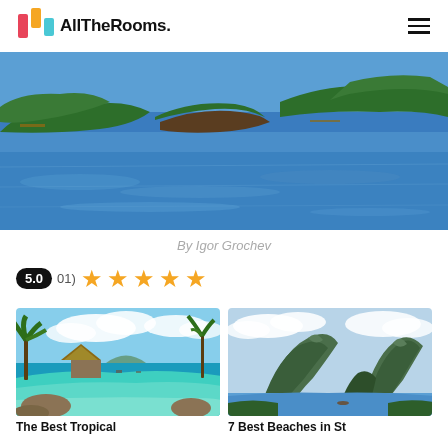AllTheRooms.
[Figure (photo): Aerial/waterfront view of a tropical bay with blue water, lush green trees and hills, and small docks]
By Igor Grochev
5.0  01)  ★★★★★
[Figure (photo): Tropical beach resort with thatched huts, palm trees, turquoise water and calm lagoon]
[Figure (photo): Two volcanic mountain peaks (Pitons) rising above a blue bay in St. Lucia]
The Best Tropical
7 Best Beaches in St